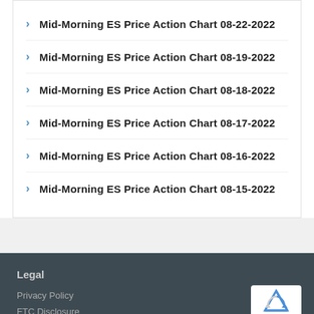Mid-Morning ES Price Action Chart 08-22-2022
Mid-Morning ES Price Action Chart 08-19-2022
Mid-Morning ES Price Action Chart 08-18-2022
Mid-Morning ES Price Action Chart 08-17-2022
Mid-Morning ES Price Action Chart 08-16-2022
Mid-Morning ES Price Action Chart 08-15-2022
Legal
Privacy Policy
FTC Disclosure